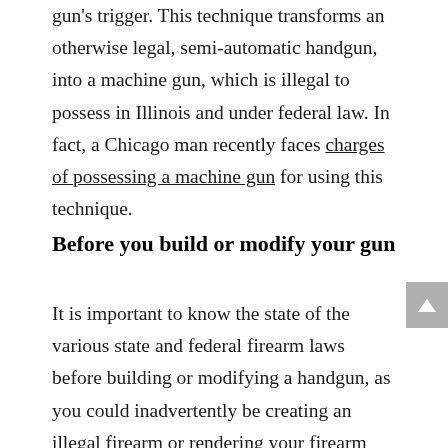gun's trigger. This technique transforms an otherwise legal, semi-automatic handgun, into a machine gun, which is illegal to possess in Illinois and under federal law. In fact, a Chicago man recently faces charges of possessing a machine gun for using this technique.
Before you build or modify your gun
It is important to know the state of the various state and federal firearm laws before building or modifying a handgun, as you could inadvertently be creating an illegal firearm or rendering your firearm illegal It is also important to understand